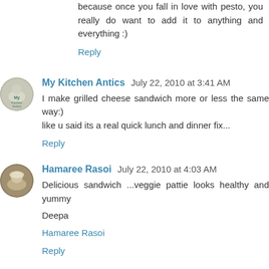because once you fall in love with pesto, you really do want to add it to anything and everything :)
Reply
My Kitchen Antics  July 22, 2010 at 3:41 AM
I make grilled cheese sandwich more or less the same way:)
like u said its a real quick lunch and dinner fix...
Reply
Hamaree Rasoi  July 22, 2010 at 4:03 AM
Delicious sandwich ...veggie pattie looks healthy and yummy

Deepa

Hamaree Rasoi
Reply